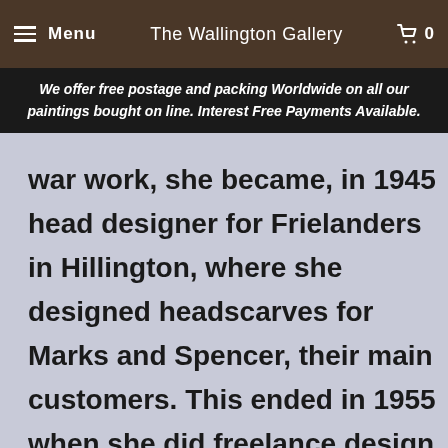Menu  |  The Wallington Gallery  |  0
We offer free postage and packing Worldwide on all our paintings bought on line. Interest Free Payments Available.
war work, she became, in 1945 head designer for Frielanders in Hillington, where she designed headscarves for Marks and Spencer, their main customers. This ended in 1955 when she did freelance design work, including book illustration for Collins (among them Robert Louis Stevenson's "A Child's Garden of Verses") and other publishers. She also worked